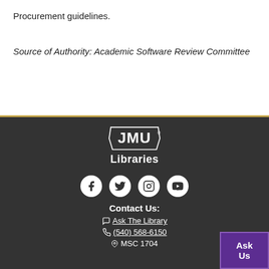Procurement guidelines.
Source of Authority: Academic Software Review Committee
[Figure (logo): JMU Libraries logo with JMU wordmark and 'Libraries' text below, social media icons (Facebook, Twitter, Instagram, YouTube), Contact Us section with Ask The Library link, phone number (540) 568-6150, MSC 1704, and Ask Us button]